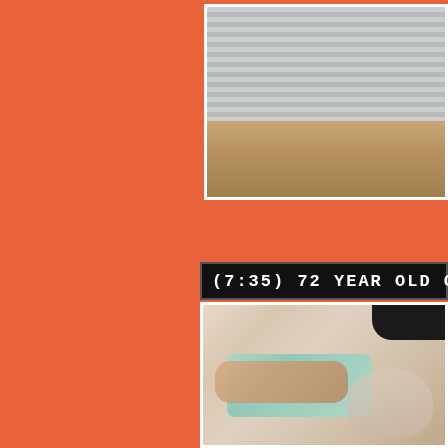[Figure (photo): Partial photo showing people in striped shirts, cropped at edges, top right of page]
(7:35) 72 YEAR OLD G
[Figure (photo): Close-up photo of skin and hands holding a light blue towel or cloth]